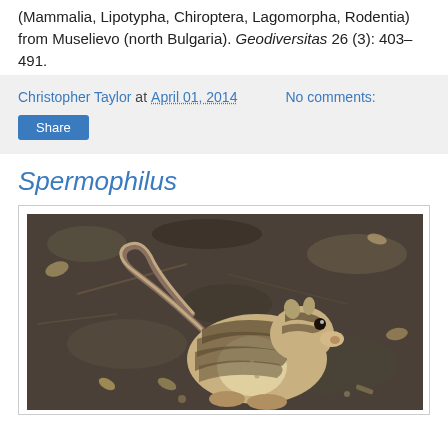(Mammalia, Lipotypha, Chiroptera, Lagomorpha, Rodentia) from Muselievo (north Bulgaria). Geodiversitas 26 (3): 403–491.
Christopher Taylor at April 01, 2014    No comments:
Share
Spermophilus
[Figure (photo): Photograph of a Spermophilus (ground squirrel) with distinctive striped pattern on its back and sides, sitting on rocky/gravelly ground with leaf litter. The animal faces right with a visible dark eye.]